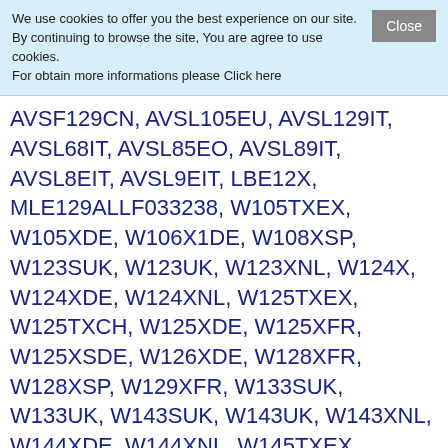We use cookies to offer you the best experience on our site. By continuing to browse the site, You are agree to use cookies. For obtain more informations please Click here
AVSF129CN, AVSL105EU, AVSL129IT, AVSL68IT, AVSL85EO, AVSL89IT, AVSL8EIT, AVSL9EIT, LBE12X, MLE129ALLF033238, W105TXEX, W105XDE, W106X1DE, W108XSP, W123SUK, W123UK, W123XNL, W124X, W124XDE, W124XNL, W125TXEX, W125TXCH, W125XDE, W125XFR, W125XSDE, W126XDE, W128XFR, W128XSP, W129XFR, W133SUK, W133UK, W143SUK, W143UK, W143XNL, W144XDE, W144XNL, W145TXEX, W145TXCH, W145XDE, W146XDE, W146XSDE, W14GE, W161UK, W165TXEX, W165XNL, W166XDE, W16GE, W431TXEX, W432XSIT, W43XIT, W43XSP, W443XGIT, W44XIT, W63XIT, W63XSP, W642TXEX, W646XPT, W646XSPT, W682XSIT, W683XGIT, W68XIT, W68XSIT, W842XSIT,